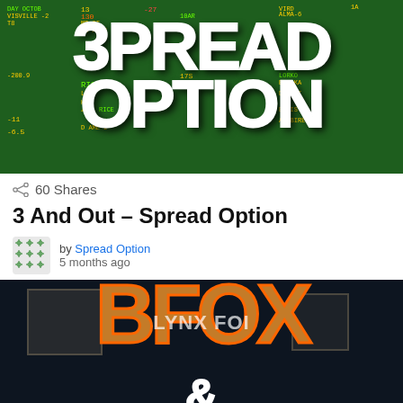[Figure (photo): Decorative image showing 'Spread Option' text in large white letters overlaid on a green sports scoreboard background with yellow and green score data]
60 Shares
3 And Out – Spread Option
by Spread Option
5 months ago
[Figure (photo): Decorative image showing 'BFOX &' text in large orange letters against a dark navy background with basketball court elements]
close